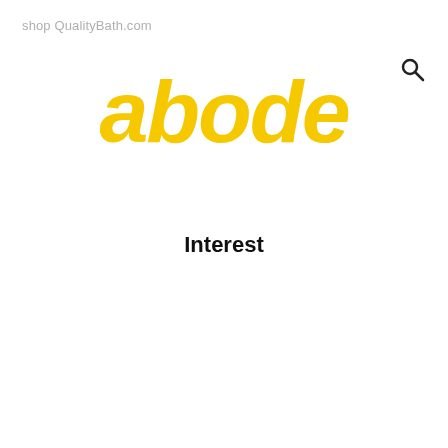shop QualityBath.com
abode
Interest